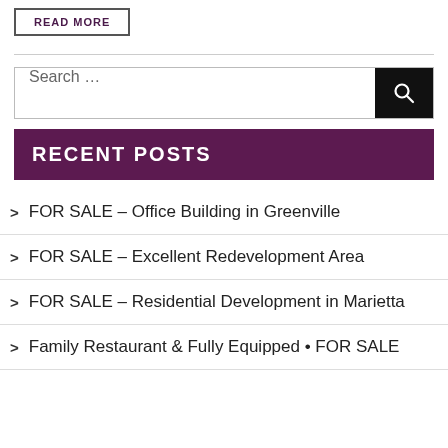READ MORE
RECENT POSTS
FOR SALE – Office Building in Greenville
FOR SALE – Excellent Redevelopment Area
FOR SALE – Residential Development in Marietta
Family Restaurant & Fully Equipped • FOR SALE